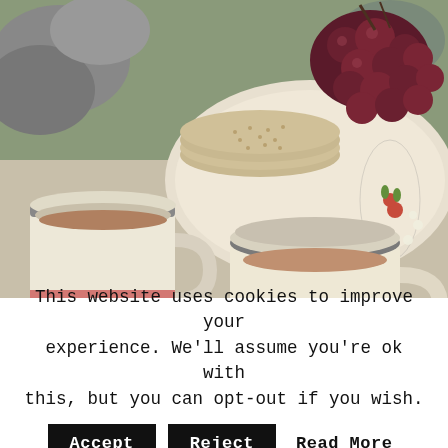[Figure (photo): Photo of two cream-colored enamel mugs filled with hot chocolate, a plate with round crackers/biscuits and a bunch of dark red grapes, on a picnic setting with rocks in background.]
This website uses cookies to improve your experience. We'll assume you're ok with this, but you can opt-out if you wish.
Accept | Reject | Read More